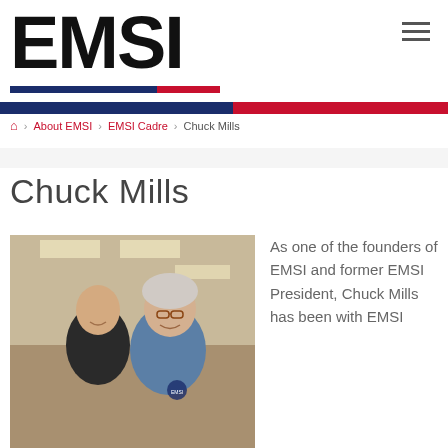[Figure (logo): EMSI logo in bold black text with color bar underneath]
🏠 > About EMSI > EMSI Cadre > Chuck Mills
Chuck Mills
[Figure (photo): Photo of two men smiling together, one in black shirt and one in blue EMSI shirt, taken indoors]
As one of the founders of EMSI and former EMSI President, Chuck Mills has been with EMSI